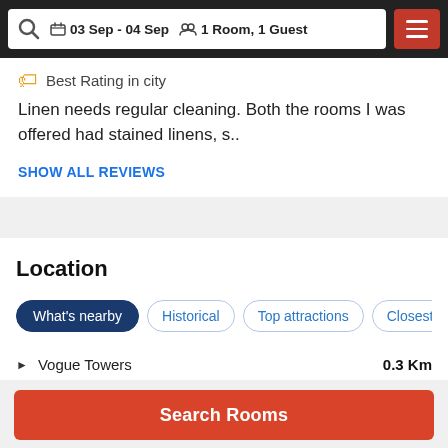03 Sep - 04 Sep   1 Room, 1 Guest
Best Rating in city
Linen needs regular cleaning. Both the rooms I was offered had stained linens, s..
SHOW ALL REVIEWS
Location
What's nearby
Historical
Top attractions
Closest Airpo
Vogue Towers   0.3 Km
Search Rooms